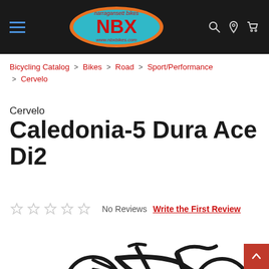NBX – Narragansett Bikes header with logo, hamburger menu, search, location, and cart icons
Bicycling Catalog > Bikes > Road > Sport/Performance > Cervelo
Cervelo
Caledonia-5 Dura Ace Di2
No Reviews  Write the First Review
[Figure (photo): Partial view of a dark carbon road bike (Cervelo Caledonia-5) showing the frame, saddle, handlebars, and front wheel against a white background]